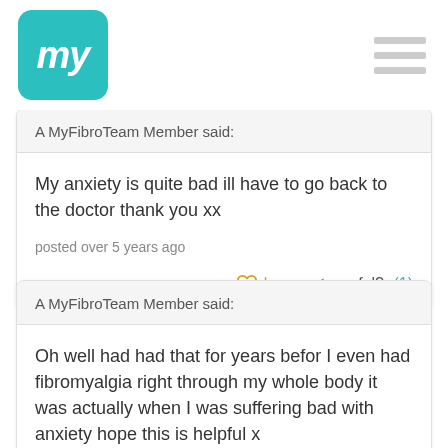my [logo] | hamburger menu
A MyFibroTeam Member said:
My anxiety is quite bad ill have to go back to the doctor thank you xx
posted over 5 years ago
hug | useful? (1)
A MyFibroTeam Member said:
Oh well had had that for years befor I even had fibromyalgia right through my whole body it was actually when I was suffering bad with anxiety hope this is helpful x